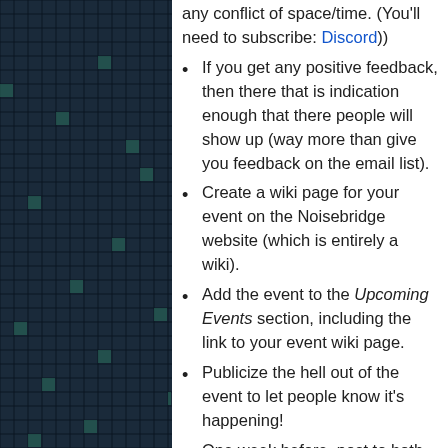[Figure (other): Dark blue grid/mosaic pattern background panel on the left side of the page]
any conflict of space/time. (You'll need to subscribe: Discord))
If you get any positive feedback, then there that is indication enough that there people will show up (way more than give you feedback on the email list).
Create a wiki page for your event on the Noisebridge website (which is entirely a wiki).
Add the event to the Upcoming Events section, including the link to your event wiki page.
Publicize the hell out of the event to let people know it's happening!
One week before, post to both the Discussion and Announce lists. And then you can post to both lists again the day before to remind people (and to catch last-minute stragglers).